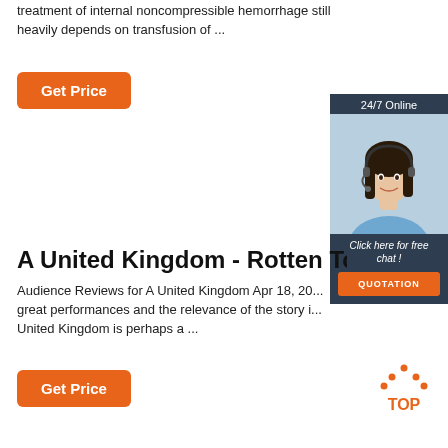treatment of internal noncompressible hemorrhage still heavily depends on transfusion of ...
[Figure (other): Orange 'Get Price' button]
[Figure (other): 24/7 online chat widget with woman wearing headset, 'Click here for free chat!' text, and orange QUOTATION button]
A United Kingdom - Rotten Toma...
Audience Reviews for A United Kingdom Apr 18, 20... great performances and the relevance of the story i... United Kingdom is perhaps a ...
[Figure (other): Orange 'Get Price' button]
[Figure (other): TOP icon with orange dots forming an arrow pointing upward and 'TOP' text in orange]